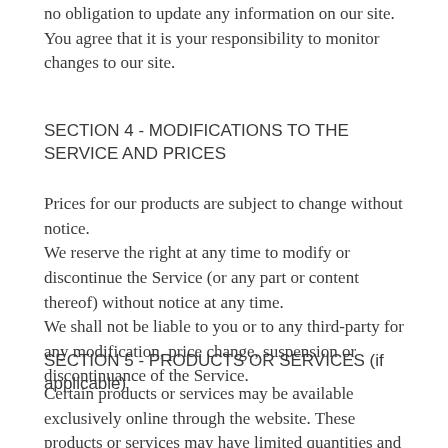no obligation to update any information on our site. You agree that it is your responsibility to monitor changes to our site.
SECTION 4 - MODIFICATIONS TO THE SERVICE AND PRICES
Prices for our products are subject to change without notice.
We reserve the right at any time to modify or discontinue the Service (or any part or content thereof) without notice at any time.
We shall not be liable to you or to any third-party for any modification, price change, suspension or discontinuance of the Service.
SECTION 5 - PRODUCTS OR SERVICES (if applicable)
Certain products or services may be available exclusively online through the website. These products or services may have limited quantities and are subject to return or exchange only according to our Return Policy.